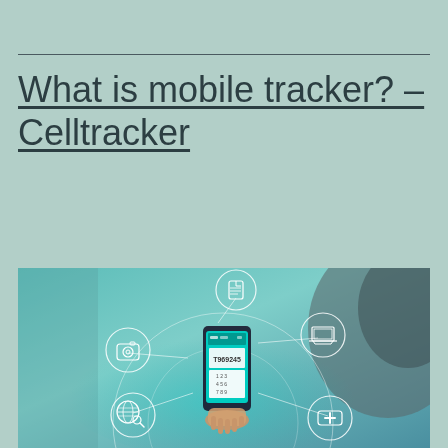What is mobile tracker? – Celltracker
[Figure (photo): Person holding a smartphone with mobile tracking app interface visible, surrounded by circular icons representing camera, document, laptop, globe/search, and medical cross, connected by network lines. A number T969245 is visible on the phone screen.]